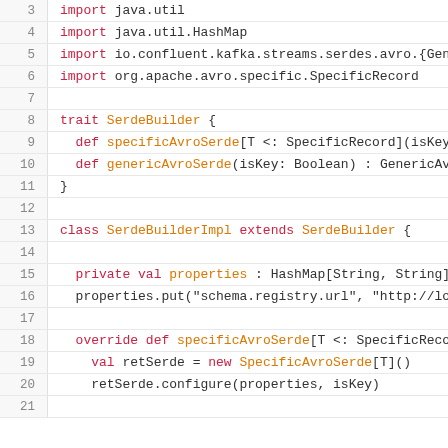3  import java.util
4  import java.util.HashMap
5  import io.confluent.kafka.streams.serdes.avro.{Gene
6  import org.apache.avro.specific.SpecificRecord
7  
8  trait SerdeBuilder {
9    def specificAvroSerde[T <: SpecificRecord](isKey:
10   def genericAvroSerde(isKey: Boolean) : GenericAvr
11 }
12 
13 class SerdeBuilderImpl extends SerdeBuilder {
14 
15   private val properties : HashMap[String, String]
16   properties.put("schema.registry.url", "http://loc
17 
18   override def specificAvroSerde[T <: SpecificRecor
19     val retSerde = new SpecificAvroSerde[T]()
20     retSerde.configure(properties, isKey)
21